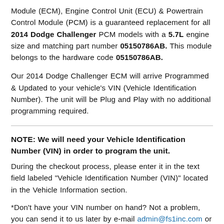Module (ECM), Engine Control Unit (ECU) & Powertrain Control Module (PCM) is a guaranteed replacement for all 2014 Dodge Challenger PCM models with a 5.7L engine size and matching part number 05150786AB. This module belongs to the hardware code 05150786AB.
Our 2014 Dodge Challenger ECM will arrive Programmed & Updated to your vehicle's VIN (Vehicle Identification Number). The unit will be Plug and Play with no additional programming required.
NOTE: We will need your Vehicle Identification Number (VIN) in order to program the unit.
During the checkout process, please enter it in the text field labeled "Vehicle Identification Number (VIN)" located in the Vehicle Information section.
*Don't have your VIN number on hand? Not a problem, you can send it to us later by e-mail admin@fs1inc.com or by